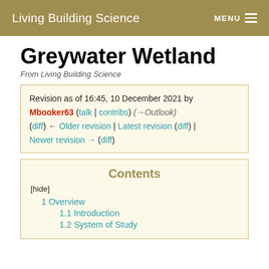Living Building Science   MENU
Greywater Wetland
From Living Building Science
Revision as of 16:45, 10 December 2021 by Mbooker63 (talk | contribs) (→Outlook)
(diff) ← Older revision | Latest revision (diff) | Newer revision → (diff)
Contents
[hide]
1 Overview
1.1 Introduction
1.2 System of Study